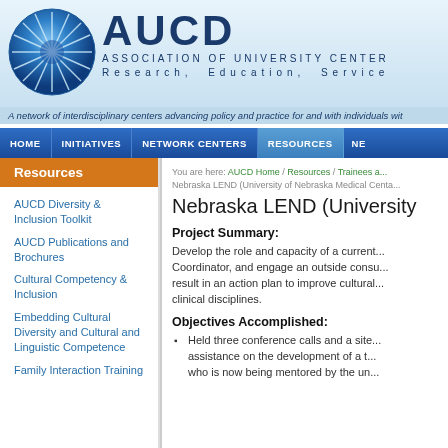[Figure (logo): AUCD logo - blue starburst/snowflake circle with AUCD text and Association of University Centers tagline]
AUCD ASSOCIATION OF UNIVERSITY CENTER Research, Education, Service
A network of interdisciplinary centers advancing policy and practice for and with individuals wit
HOME | INITIATIVES | NETWORK CENTERS | RESOURCES | NE
Resources
AUCD Diversity & Inclusion Toolkit
AUCD Publications and Brochures
Cultural Competency & Inclusion
Embedding Cultural Diversity and Cultural and Linguistic Competence
Family Interaction Training
You are here: AUCD Home / Resources / Trainees a... Nebraska LEND (University of Nebraska Medical Centa...
Nebraska LEND (University
Project Summary:
Develop the role and capacity of a current... Coordinator, and engage an outside consu... result in an action plan to improve cultural... clinical disciplines.
Objectives Accomplished:
Held three conference calls and a site... assistance on the development of a t... who is now being mentored by the un...